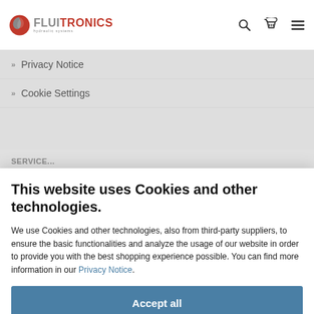FLUITRONICS — hydraulic systems
>> Privacy Notice
>> Cookie Settings
SERVICE...
>>Claim Process
This website uses Cookies and other technologies.
We use Cookies and other technologies, also from third-party suppliers, to ensure the basic functionalities and analyze the usage of our website in order to provide you with the best shopping experience possible. You can find more information in our Privacy Notice.
Accept all
More information